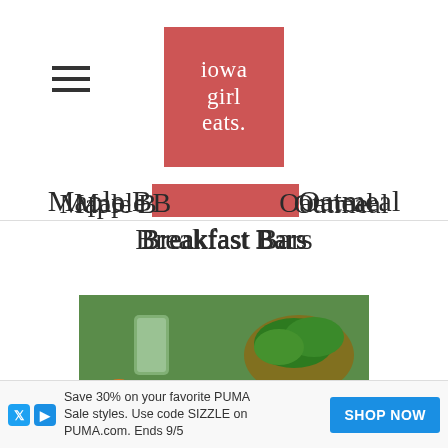[Figure (logo): Iowa Girl Eats logo — pink/red rectangle with white serif text reading 'iowa girl eats.']
Maple Brown Sugar Oatmeal Breakfast Bars
[Figure (photo): Close-up photo of a white bowl filled with chicken and wild rice soup with carrots, celery, and noodles, with green salad and a glass in the background.]
Save 30% on your favorite PUMA Sale styles. Use code SIZZLE on PUMA.com. Ends 9/5
SHOP NOW